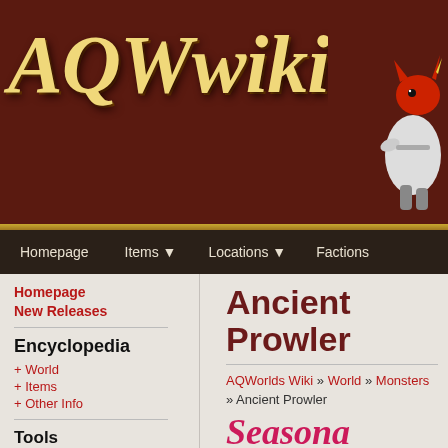AQWwiki
Homepage | Items ▼ | Locations ▼ | Factions
Homepage
New Releases
Encyclopedia
+ World
+ Items
+ Other Info
Tools
Join this Site
Site Members
Tribute Wall
Ancient Prowler
AQWorlds Wiki » World » Monsters » Ancient Prowler
Seasonal
Location:
Frost Deep